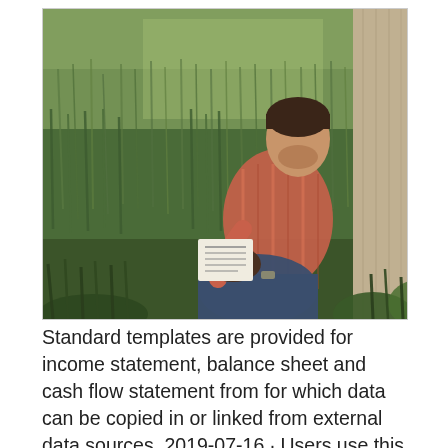[Figure (photo): A man sitting against a wooden wall in a grassy field, reading a newspaper with a dog beside him. Outdoor scene with lush green grass and natural lighting.]
Standard templates are provided for income statement, balance sheet and cash flow statement from for which data can be copied in or linked from external data sources. 2019-07-16 · Users use this business Dupont analysis calculator at their own